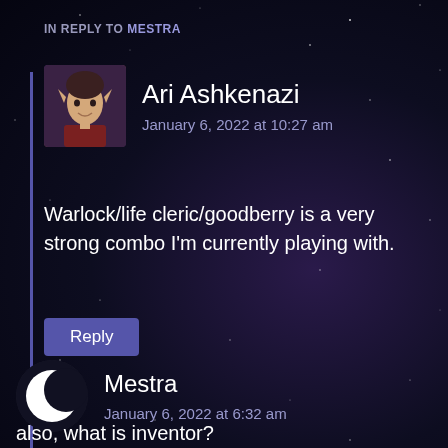IN REPLY TO MESTRA
Ari Ashkenazi
January 6, 2022 at 10:27 am
Warlock/life cleric/goodberry is a very strong combo I'm currently playing with.
Reply
Mestra
January 6, 2022 at 6:32 am
also, what is inventor?